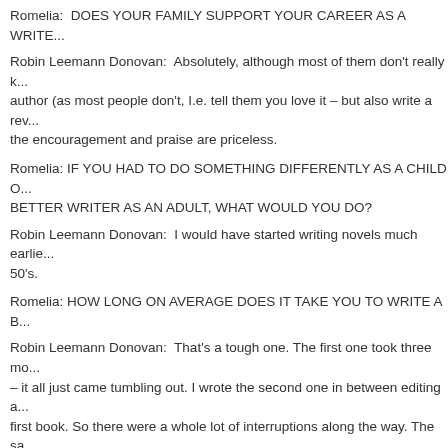Romelia:  DOES YOUR FAMILY SUPPORT YOUR CAREER AS A WRITE...
Robin Leemann Donovan:  Absolutely, although most of them don't really k... author (as most people don't, I.e. tell them you love it – but also write a rev... the encouragement and praise are priceless.
Romelia: IF YOU HAD TO DO SOMETHING DIFFERENTLY AS A CHILD O... BETTER WRITER AS AN ADULT, WHAT WOULD YOU DO?
Robin Leemann Donovan:  I would have started writing novels much earlie... 50's.
Romelia: HOW LONG ON AVERAGE DOES IT TAKE YOU TO WRITE A B...
Robin Leemann Donovan:  That's a tough one. The first one took three mo... – it all just came tumbling out. I wrote the second one in between editing a... first book. So there were a whole lot of interruptions along the way. The sa... was working on editing, proofing the second and marketing both the first a... was about a year to a year and a half due to stopping and starting.
Romelia:  DO YOU BELIEVE IN WRITER'S BLOCK?
Robin Leemann Donovan:  Not really. I think if you're blocked maybe you're... I tried writing a fictionalized version of a very painful event in my life – I was... When the lawyers decided it was risky to publish something so incendiary...